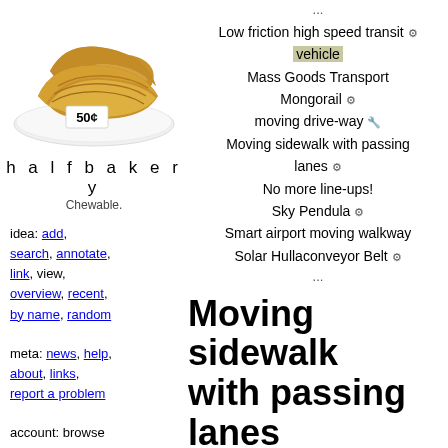[Figure (photo): Two croissants on a white plate with a '50¢' price tag]
h a l f b a k e r y
Chewable.
idea: add, search, annotate, link, view, overview, recent, by name, random
meta: news, help, about, links, report a problem
account: browse anonymously, or get an account and write.
...
Low friction high speed transit [vehicle]
Mass Goods Transport
Mongorail
moving drive-way
Moving sidewalk with passing lanes
No more line-ups!
Sky Pendula
Smart airport moving walkway
Solar Hullaconveyor Belt
...
Moving sidewalk with passing lanes
Ever been on one of those moving sidewa... airport, and people stop in front of you, for... clog? And so you stand there, getting stea... making these little hops behind them, whil... walking alongside the thing move faster th...